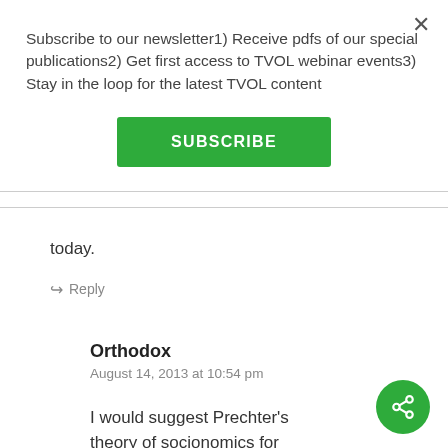Subscribe to our newsletter1) Receive pdfs of our special publications2) Get first access to TVOL webinar events3) Stay in the loop for the latest TVOL content
SUBSCRIBE
today.
↳ Reply
Orthodox
August 14, 2013 at 10:54 pm
I would suggest Prechter's
theory of socionomics for